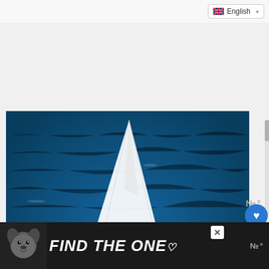English
111°
[Figure (photo): Aerial view of a sailboat/catamaran on deep blue ocean water, photographed from above]
1
WHAT'S NEXT → PLANNING A TRIP TO...
[Figure (photo): Advertisement banner with a dog and text FIND THE ONE with a heart symbol, on a dark background]
FIND THE ONE